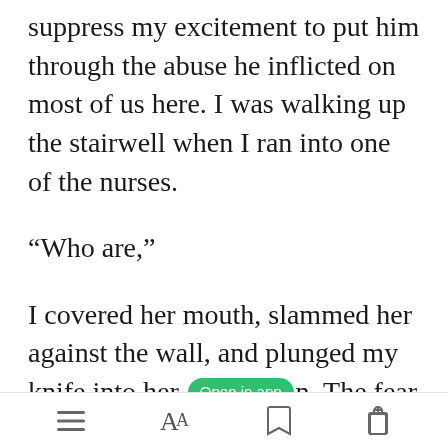suppress my excitement to put him through the abuse he inflicted on most of us here. I was walking up the stairwell when I ran into one of the nurses.
“Who are,”
I covered her mouth, slammed her against the wall, and plunged my knife into her [Open in app button]n. The fear in her eyes was erotic and her hands...